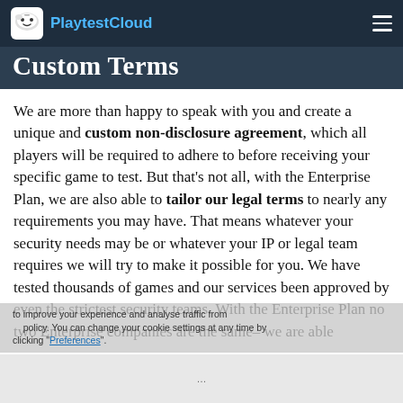PlaytestCloud
Custom Terms
We are more than happy to speak with you and create a unique and custom non-disclosure agreement, which all players will be required to adhere to before receiving your specific game to test. But that's not all, with the Enterprise Plan, we are also able to tailor our legal terms to nearly any requirements you may have. That means whatever your security needs may be or whatever your IP or legal team requires we will try to make it possible for you. We have tested thousands of games and our services been approved by even the strictest security teams. With the Enterprise Plan no two Enterprise companies are the same– we are able